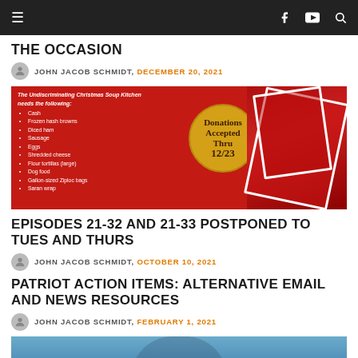≡  [navigation bar with hamburger menu, Facebook, YouTube, Search icons]
THE OCCASION
JOHN JACOB SCHMIDT, DECEMBER 20, 2021
[Figure (photo): Red holiday-themed image with a list of soup kitchen donation needs and a gold seal reading 'Donations Accepted Thru 12/23', with wrapped Christmas gifts on the right]
EPISODES 21-32 AND 21-33 POSTPONED TO TUES AND THURS
JOHN JACOB SCHMIDT, OCTOBER 10, 2021
PATRIOT ACTION ITEMS: ALTERNATIVE EMAIL AND NEWS RESOURCES
JOHN JACOB SCHMIDT, FEBRUARY 1, 2021
[Figure (photo): Bottom of page photo with blue/teal background, partial figure visible]